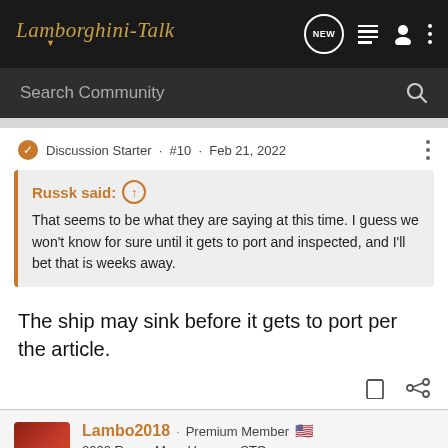Lamborghini-Talk
Search Community
Discussion Starter · #10 · Feb 21, 2022
Russk said: ↑
That seems to be what they are saying at this time. I guess we won't know for sure until it gets to port and inspected, and I'll bet that is weeks away.
The ship may sink before it gets to port per the article.
Lambo2018 · Premium Member 🇺🇸
2022 Rosso Mars Huracan STO
Joined Apr 22, 2018 · 16,647 Posts